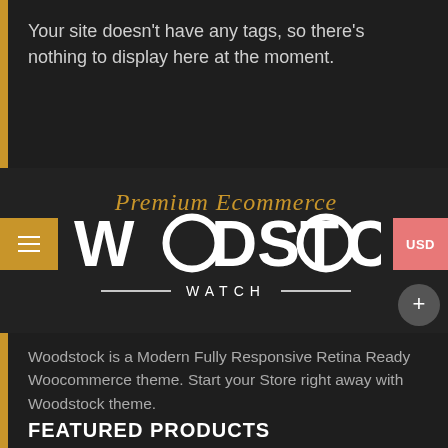Your site doesn’t have any tags, so there’s nothing to display here at the moment.
[Figure (logo): Woodstock Watch Premium Ecommerce logo with gold italic script 'Premium Ecommerce' above large white bold sans-serif text 'WOODSTOCK' with 'WATCH' below in spaced capitals, on dark background. Navigation elements include hamburger menu (gold square), USD currency button (pink), and plus button (grey circle).]
Woodstock is a Modern Fully Responsive Retina Ready Woocommerce theme. Start your Store right away with Woodstock theme.
FEATURED PRODUCTS